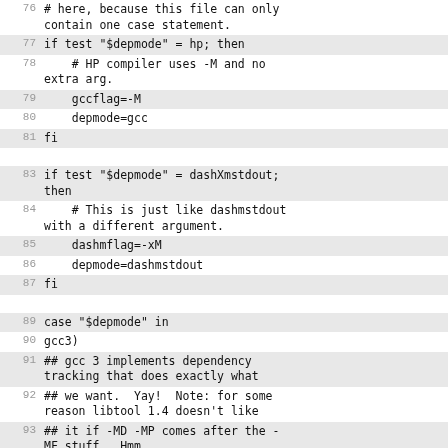Code listing lines 76-96 showing shell script dependency mode detection logic
76: # here, because this file can only contain one case statement.
77: if test "$depmode" = hp; then
78:     # HP compiler uses -M and no extra arg.
79:     gccflag=-M
80:     depmode=gcc
81: fi
82: (empty)
83: if test "$depmode" = dashXmstdout; then
84:     # This is just like dashmstdout with a different argument.
85:     dashmflag=-xM
86:     depmode=dashmstdout
87: fi
88: (empty)
89: case "$depmode" in
90: gcc3)
91: ## gcc 3 implements dependency tracking that does exactly what
92: ## we want.  Yay!  Note: for some reason libtool 1.4 doesn't like
93: ## it if -MD -MP comes after the -MF stuff.  Hmm.
94:     "$@" -MT "$object" -MD -MP -MF "$tmpdepfile"
95:     stat=$?
96: if test $stat -eq 0; then ;